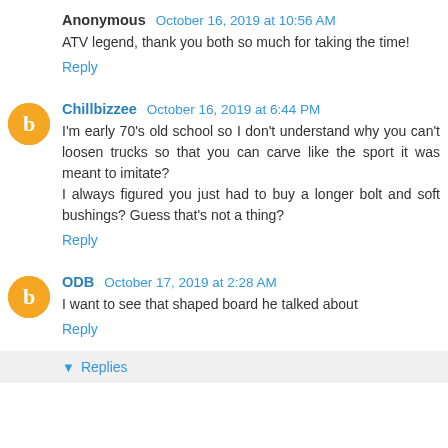Anonymous October 16, 2019 at 10:56 AM
ATV legend, thank you both so much for taking the time!
Reply
Chillbizzee October 16, 2019 at 6:44 PM
I'm early 70's old school so I don't understand why you can't loosen trucks so that you can carve like the sport it was meant to imitate?
I always figured you just had to buy a longer bolt and soft bushings? Guess that's not a thing?
Reply
ODB October 17, 2019 at 2:28 AM
I want to see that shaped board he talked about
Reply
Replies